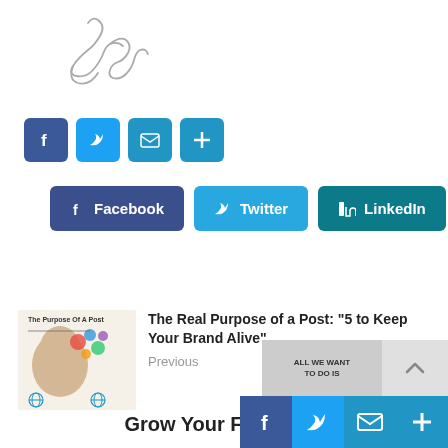[Figure (illustration): Handwritten signature in gray ink]
[Figure (infographic): Row of four small social share icon buttons: Facebook (blue), Twitter (light blue), Email (blue envelope), Share/Plus (blue)]
[Figure (infographic): Three large social share buttons: Facebook (dark blue), Twitter (light blue), LinkedIn (teal)]
[Figure (infographic): Related post thumbnail: The Purpose Of A Post - illustration of head with social media icons]
The Real Purpose of a Post: "5 to Keep Your Brand Alive"
Previous
Grow Your Following
[Figure (infographic): Floating social share icons at bottom right: Facebook, Twitter, Email, Plus]
[Figure (infographic): Scroll-up button (gray background with up arrow) and partially visible image thumbnail at bottom right with text ALL WE WANT TO DO IS]